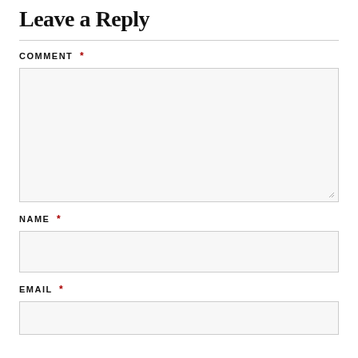Leave a Reply
COMMENT *
NAME *
EMAIL *